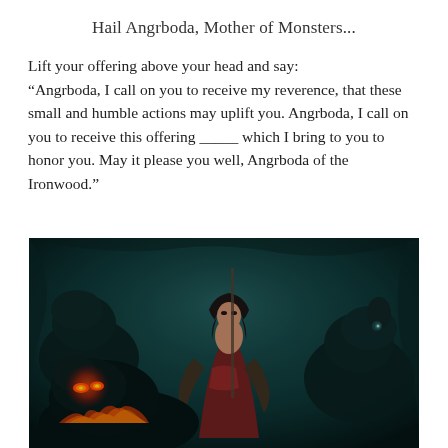Hail Angrboda, Mother of Monsters...
Lift your offering above your head and say: “Angrboda, I call on you to receive my reverence, that these small and humble actions may uplift you. Angrboda, I call on you to receive this offering _____ which I bring to you to honor you. May it please you well, Angrboda of the Ironwood.”
[Figure (illustration): Fantasy illustration of a dark-haired warrior woman in a red corset and fur cloak, surrounded by large black wolves with glowing eyes. The background is dark teal/green cave-like environment. One wolf on the lower left has fiery red glowing eyes.]